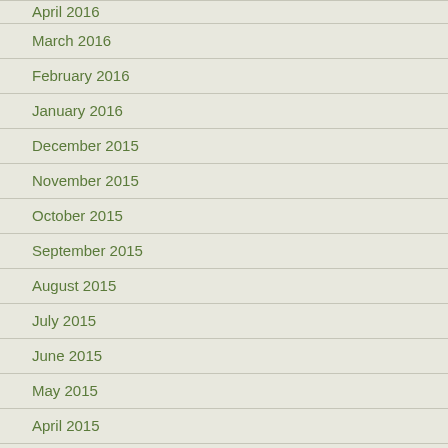April 2016
March 2016
February 2016
January 2016
December 2015
November 2015
October 2015
September 2015
August 2015
July 2015
June 2015
May 2015
April 2015
March 2015
February 2015